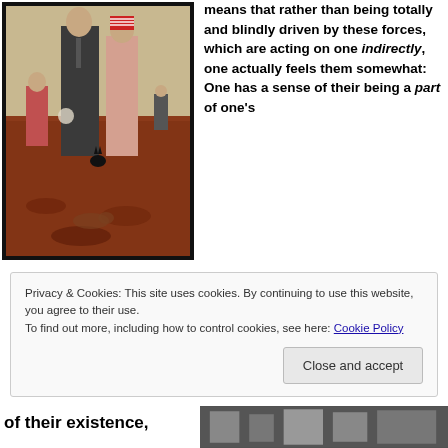[Figure (illustration): A painting depicting several figures standing outdoors — a tall man in a dark suit, a woman in a pink dress with a patterned head covering, and additional figures in the background, on a ground covered with reddish-brown leaves or debris.]
means that rather than being totally and blindly driven by these forces, which are acting on one indirectly, one actually feels them somewhat: One has a sense of their being a part of one's
Privacy & Cookies: This site uses cookies. By continuing to use this website, you agree to their use.
To find out more, including how to control cookies, see here: Cookie Policy
Close and accept
of their existence,